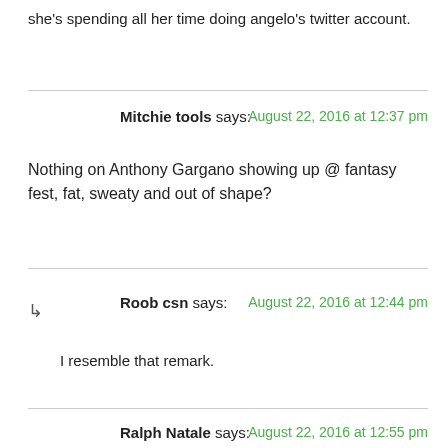she's spending all her time doing angelo's twitter account.
Mitchie tools says:
August 22, 2016 at 12:37 pm
Nothing on Anthony Gargano showing up @ fantasy fest, fat, sweaty and out of shape?
Roob csn says:
August 22, 2016 at 12:44 pm
I resemble that remark.
Ralph Natale says:
August 22, 2016 at 12:55 pm